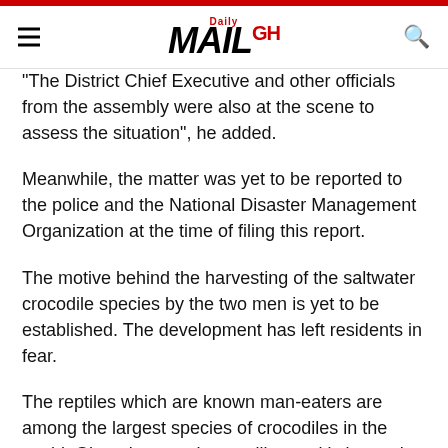Daily MAIL GH
"The District Chief Executive and other officials from the assembly were also at the scene to assess the situation", he added.
Meanwhile, the matter was yet to be reported to the police and the National Disaster Management Organization at the time of filing this report.
The motive behind the harvesting of the saltwater crocodile species by the two men is yet to be established. The development has left residents in fear.
The reptiles which are known man-eaters are among the largest species of crocodiles in the world. Ghana's sacred crocodile pond is located at Paga in the Upper East Region.